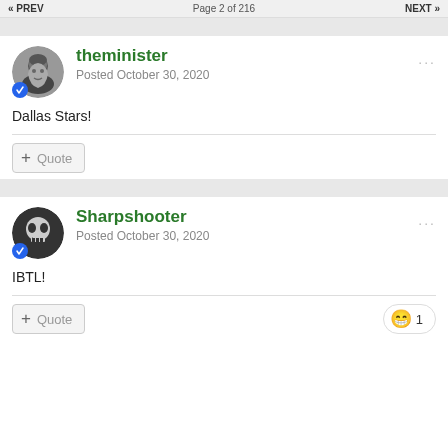« PREV  Page 2 of 216  NEXT »
theminister
Posted October 30, 2020
Dallas Stars!
+ Quote
Sharpshooter
Posted October 30, 2020
IBTL!
+ Quote  😁 1